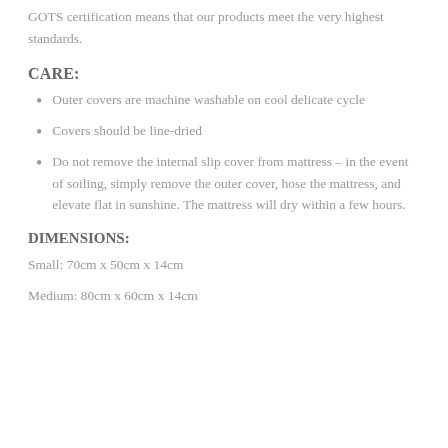GOTS certification means that our products meet the very highest standards.
CARE:
Outer covers are machine washable on cool delicate cycle
Covers should be line-dried
Do not remove the internal slip cover from mattress – in the event of soiling, simply remove the outer cover, hose the mattress, and elevate flat in sunshine. The mattress will dry within a few hours.
DIMENSIONS:
Small: 70cm x 50cm x 14cm
Medium: 80cm x 60cm x 14cm